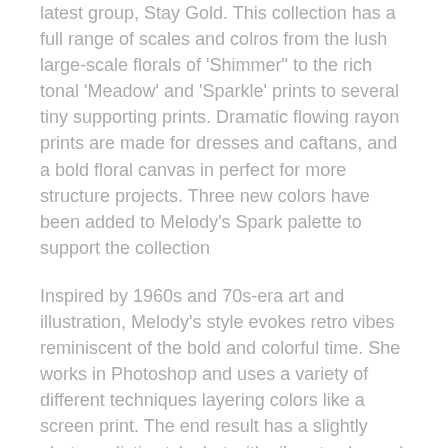latest group, Stay Gold. This collection has a full range of scales and colros from the lush large-scale florals of 'Shimmer" to the rich tonal 'Meadow' and 'Sparkle' prints to several tiny supporting prints. Dramatic flowing rayon prints are made for dresses and caftans, and a bold floral canvas in perfect for more structure projects. Three new colors have been added to Melody's Spark palette to support the collection
Inspired by 1960s and 70s-era art and illustration, Melody's style evokes retro vibes reminiscent of the bold and colorful time. She works in Photoshop and uses a variety of different techniques layering colors like a screen print. The end result has a slightly photo realistic style, but with vibrant color and prints a little off register.
Melody Miller grew up in the Lowcountry of South Caroline, quite possible the prettiest place on earth. Later, she felt as much at home in New York City, where she studied industrial design at Pratt Institute, and her